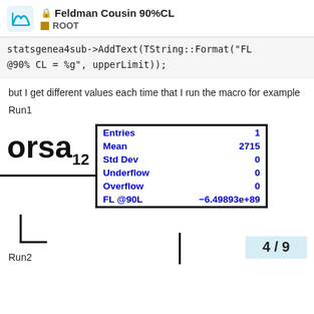Feldman Cousin 90%CL — ROOT
statsgenea4sub->AddText(TString::Format("FL @90% CL = %g", upperLimit));
but I get different values each time that I run the macro for example
Run1
[Figure (screenshot): ROOT histogram screenshot showing a stats box with entries: Entries 1, Mean 2715, Std Dev 0, Underflow 0, Overflow 0, FL @90L -6.49893e+89. The histogram partially shows text 'orsa' with subscript 12 and a horizontal line.]
4 / 9
Run2